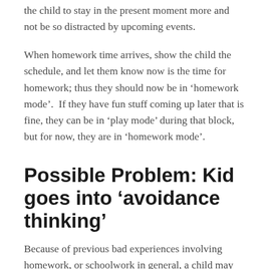the child to stay in the present moment more and not be so distracted by upcoming events.
When homework time arrives, show the child the schedule, and let them know now is the time for homework; thus they should now be in ‘homework mode’.  If they have fun stuff coming up later that is fine, they can be in ‘play mode’ during that block, but for now, they are in ‘homework mode’.
Possible Problem: Kid goes into ‘avoidance thinking’
Because of previous bad experiences involving homework, or schoolwork in general, a child may have gotten into a cycle of avoidance.  The